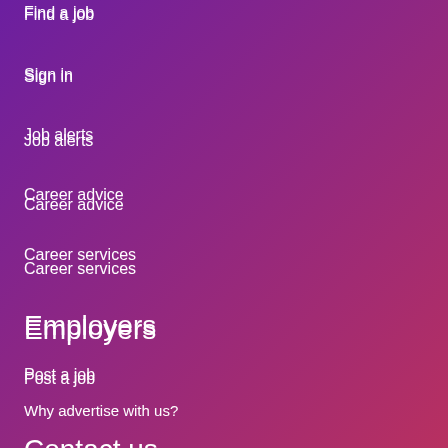Find a job
Sign in
Job alerts
Career advice
Career services
Employers
Post a job
Why advertise with us?
Sign in
Contact us